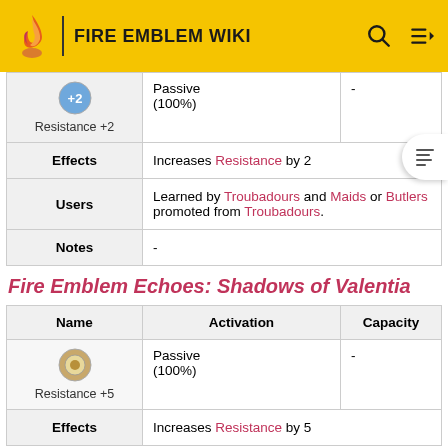FIRE EMBLEM WIKI
| Name | Activation | Capacity |
| --- | --- | --- |
| Resistance +2 | Passive (100%) | - |
| Effects | Increases Resistance by 2 |  |
| Users | Learned by Troubadours and Maids or Butlers promoted from Troubadours. |  |
| Notes | - |  |
Fire Emblem Echoes: Shadows of Valentia
| Name | Activation | Capacity |
| --- | --- | --- |
| Resistance +5 | Passive (100%) | - |
| Effects | Increases Resistance by 5 |  |